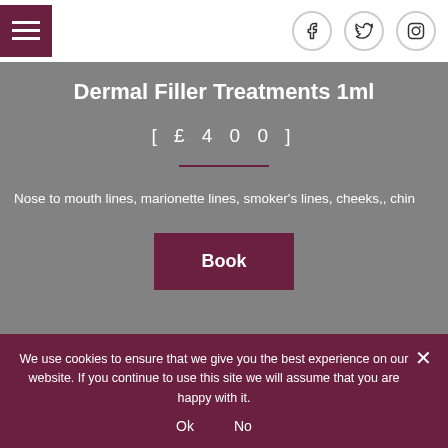[Figure (screenshot): Navigation bar with hamburger menu button (dark purple) on left and social media icons (Facebook, Twitter, Instagram) on right]
Dermal Filler Treatments 1ml
[ £ 4 0 0 ]
Nose to mouth lines, marionette lines, smoker's lines, cheeks,, chin
Book
We use cookies to ensure that we give you the best experience on our website. If you continue to use this site we will assume that you are happy with it.
Ok   No